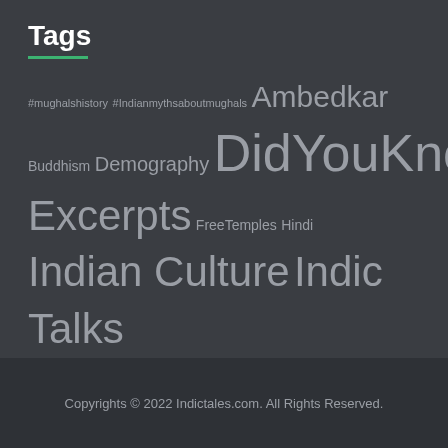Tags
#mughalshistory #Indianmythsaboutmughals Ambedkar Buddhism Demography DidYouKnow Excerpts FreeTemples Hindi Indian Culture Indic Talks IslamicJihad Q/A Sessions SubhashKak TalkSnippets TheMarathas TwitterPosts Videos
Copyrights © 2022 Indictales.com. All Rights Reserved.